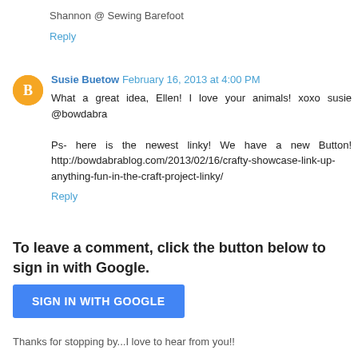Shannon @ Sewing Barefoot
Reply
Susie Buetow February 16, 2013 at 4:00 PM
What a great idea, Ellen! I love your animals! xoxo susie @bowdabra

Ps- here is the newest linky! We have a new Button! http://bowdabrablog.com/2013/02/16/crafty-showcase-link-up-anything-fun-in-the-craft-project-linky/
Reply
To leave a comment, click the button below to sign in with Google.
SIGN IN WITH GOOGLE
Thanks for stopping by...I love to hear from you!!